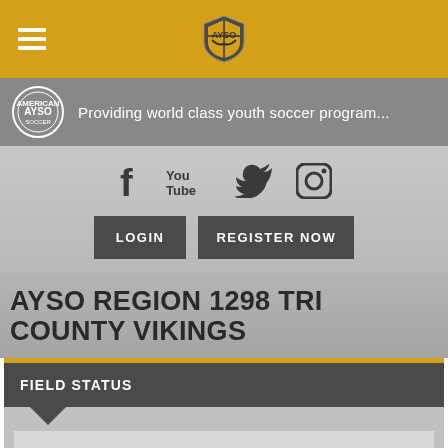[Figure (screenshot): Top navigation bar with hamburger menu icon on left and AYSO shield logo in center on gold background]
[Figure (screenshot): Gray sub-header with AYSO circular logo and text 'Providing world class youth soccer program...']
Providing world class youth soccer program...
[Figure (screenshot): Social media icons row: Facebook, YouTube, Twitter, Instagram]
[Figure (screenshot): LOGIN and REGISTER NOW buttons]
AYSO REGION 1298 TRI COUNTY VIKINGS
FIELD STATUS
< Back to Home